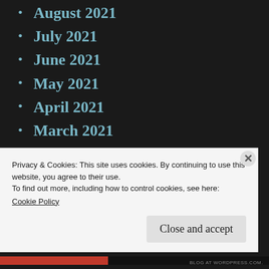August 2021
July 2021
June 2021
May 2021
April 2021
March 2021
February 2021
January 2021
December 2020
November 2020
October 2020
Privacy & Cookies: This site uses cookies. By continuing to use this website, you agree to their use.
To find out more, including how to control cookies, see here:
Cookie Policy
Close and accept